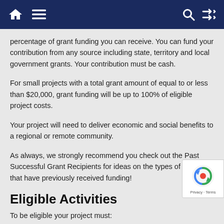navigation bar with home, menu, search, and shuffle icons
percentage of grant funding you can receive. You can fund your contribution from any source including state, territory and local government grants. Your contribution must be cash.
For small projects with a total grant amount of equal to or less than $20,000, grant funding will be up to 100% of eligible project costs.
Your project will need to deliver economic and social benefits to a regional or remote community.
As always, we strongly recommend you check out the Past Successful Grant Recipients for ideas on the types of projects that have previously received funding!
Eligible Activities
To be eligible your project must: